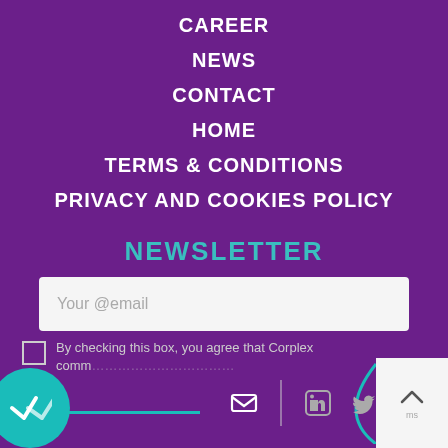CAREER
NEWS
CONTACT
HOME
TERMS & CONDITIONS
PRIVACY AND COOKIES POLICY
NEWSLETTER
Your @email
By checking this box, you agree that Corplex comm...